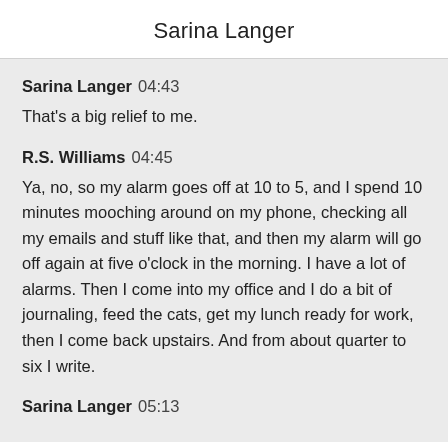Sarina Langer
Sarina Langer  04:43
That's a big relief to me.
R.S. Williams  04:45
Ya, no, so my alarm goes off at 10 to 5, and I spend 10 minutes mooching around on my phone, checking all my emails and stuff like that, and then my alarm will go off again at five o'clock in the morning. I have a lot of alarms. Then I come into my office and I do a bit of journaling, feed the cats, get my lunch ready for work, then I come back upstairs. And from about quarter to six I write.
Sarina Langer  05:13